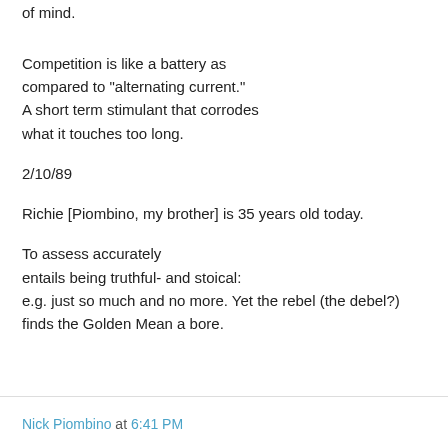of mind.
Competition is like a battery as compared to "alternating current." A short term stimulant that corrodes what it touches too long.
2/10/89
Richie [Piombino, my brother] is 35 years old today.
To assess accurately entails being truthful- and stoical: e.g. just so much and no more. Yet the rebel (the debel?) finds the Golden Mean a bore.
Nick Piombino at 6:41 PM